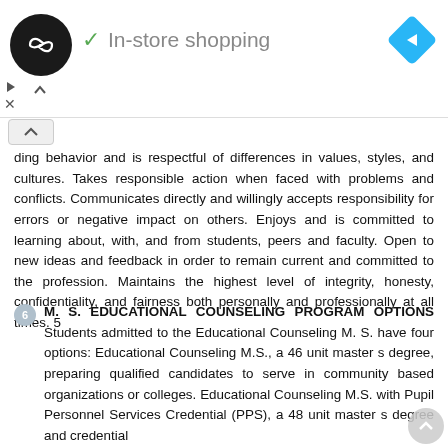[Figure (other): Advertisement banner with a dark circular logo with infinity-arrow icon, a checkmark with 'In-store shopping' text, and a blue diamond navigation arrow icon on the right. Below are play and close controls.]
ding behavior and is respectful of differences in values, styles, and cultures. Takes responsible action when faced with problems and conflicts. Communicates directly and willingly accepts responsibility for errors or negative impact on others. Enjoys and is committed to learning about, with, and from students, peers and faculty. Open to new ideas and feedback in order to remain current and committed to the profession. Maintains the highest level of integrity, honesty, confidentiality, and fairness both personally and professionally at all times. 5
6 M. S. EDUCATIONAL COUNSELING PROGRAM OPTIONS Students admitted to the Educational Counseling M. S. have four options: Educational Counseling M.S., a 46 unit master s degree, preparing qualified candidates to serve in community based organizations or colleges. Educational Counseling M.S. with Pupil Personnel Services Credential (PPS), a 48 unit master s degree and credential